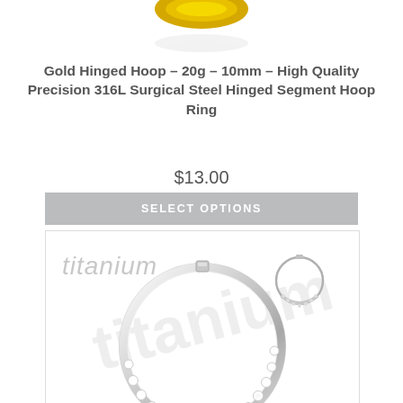[Figure (photo): Partial view of a gold hinged hoop ring at the top of the page]
Gold Hinged Hoop – 20g – 10mm – High Quality Precision 316L Surgical Steel Hinged Segment Hoop Ring
$13.00
SELECT OPTIONS
[Figure (photo): Titanium crystal-set hinged segment hoop ring shown large in center with small preview thumbnail in upper right, titanium watermark text in upper left]